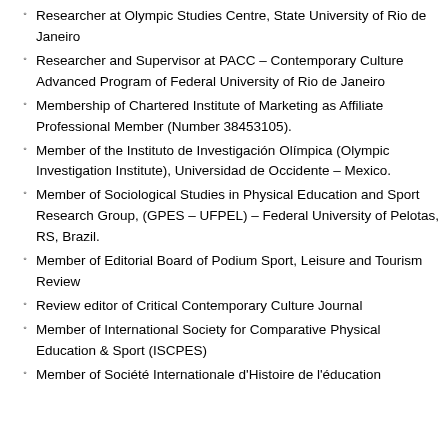Researcher at Olympic Studies Centre, State University of Rio de Janeiro
Researcher and Supervisor at PACC – Contemporary Culture Advanced Program of Federal University of Rio de Janeiro
Membership of Chartered Institute of Marketing as Affiliate Professional Member (Number 38453105).
Member of the Instituto de Investigación Olímpica (Olympic Investigation Institute), Universidad de Occidente – Mexico.
Member of Sociological Studies in Physical Education and Sport Research Group, (GPES – UFPEL) – Federal University of Pelotas, RS, Brazil.
Member of Editorial Board of Podium Sport, Leisure and Tourism Review
Review editor of Critical Contemporary Culture Journal
Member of International Society for Comparative Physical Education & Sport (ISCPES)
Member of Société Internationale d'Histoire de l'éducation